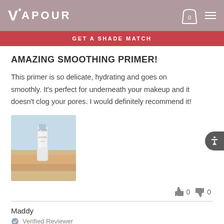VAPOUR
GET A SHADE MATCH
AMAZING SMOOTHING PRIMER!
This primer is so delicate, hydrating and goes on smoothly. It's perfect for underneath your makeup and it doesn't clog your pores. I would definitely recommend it!
[Figure (photo): Photo of a cosmetic primer product bottle held against a light blue and warm-toned background]
👍 0  👎 0
Maddy
Verified Reviewer